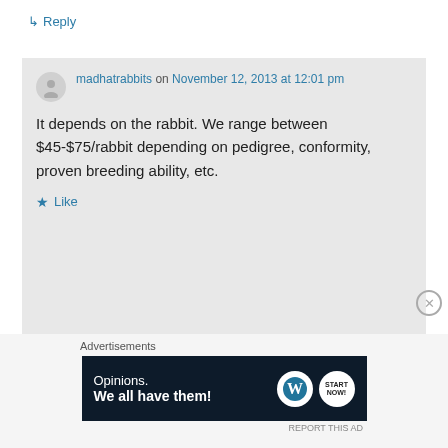↳ Reply
madhatrabbits on November 12, 2013 at 12:01 pm
It depends on the rabbit. We range between $45-$75/rabbit depending on pedigree, conformity, proven breeding ability, etc.
★ Like
↳ Reply
Advertisements
[Figure (infographic): WordPress advertisement banner with text 'Opinions. We all have them!' alongside WordPress and another logo on dark navy background]